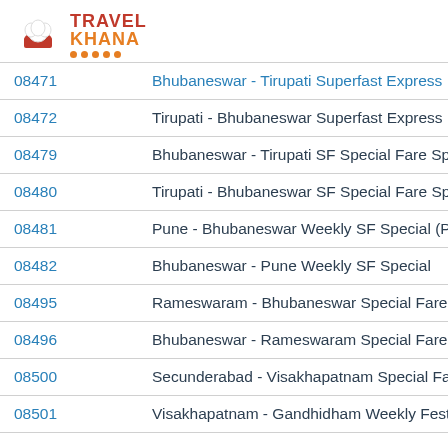[Figure (logo): Travel Khana logo with chef hat icon and orange dots underline]
| Train No. | Train Name |
| --- | --- |
| 08471 | Bhubaneswar - Tirupati Superfast Express |
| 08472 | Tirupati - Bhubaneswar Superfast Express |
| 08479 | Bhubaneswar - Tirupati SF Special Fare Sp |
| 08480 | Tirupati - Bhubaneswar SF Special Fare Sp |
| 08481 | Pune - Bhubaneswar Weekly SF Special (P |
| 08482 | Bhubaneswar - Pune Weekly SF Special |
| 08495 | Rameswaram - Bhubaneswar Special Fare |
| 08496 | Bhubaneswar - Rameswaram Special Fare |
| 08500 | Secunderabad - Visakhapatnam Special Fa |
| 08501 | Visakhapatnam - Gandhidham Weekly Fest |